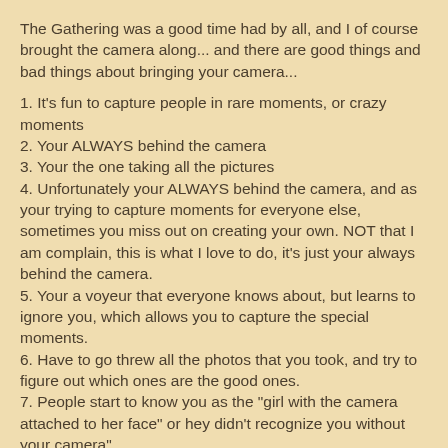The Gathering was a good time had by all, and I of course brought the camera along... and there are good things and bad things about bringing your camera...
1. It's fun to capture people in rare moments, or crazy moments
2. Your ALWAYS behind the camera
3. Your the one taking all the pictures
4. Unfortunately your ALWAYS behind the camera, and as your trying to capture moments for everyone else, sometimes you miss out on creating your own. NOT that I am complain, this is what I love to do, it's just your always behind the camera.
5. Your a voyeur that everyone knows about, but learns to ignore you, which allows you to capture the special moments.
6. Have to go threw all the photos that you took, and try to figure out which ones are the good ones.
7. People start to know you as the "girl with the camera attached to her face" or hey didn't recognize you without your camera"